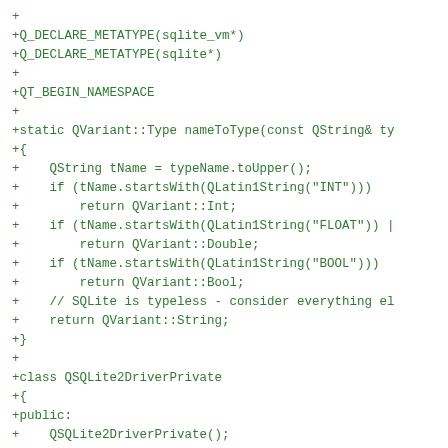+
+Q_DECLARE_METATYPE(sqlite_vm*)
+Q_DECLARE_METATYPE(sqlite*)
+
+QT_BEGIN_NAMESPACE
+
+static QVariant::Type nameToType(const QString& ty
+{
+    QString tName = typeName.toUpper();
+    if (tName.startsWith(QLatin1String("INT")))
+        return QVariant::Int;
+    if (tName.startsWith(QLatin1String("FLOAT")) |
+        return QVariant::Double;
+    if (tName.startsWith(QLatin1String("BOOL")))
+        return QVariant::Bool;
+    // SQLite is typeless - consider everything el
+    return QVariant::String;
+}
+
+class QSQLite2DriverPrivate
+{
+public:
+    QSQLite2DriverPrivate();
+    sqlite *access;
+    bool utf8;
+};
+
+QSQLite2DriverPrivate::QSQLite2DriverPrivate() : a
+{
+    utf8 = (qstrcmp(sqlite_encoding, "UTF-8") == 0